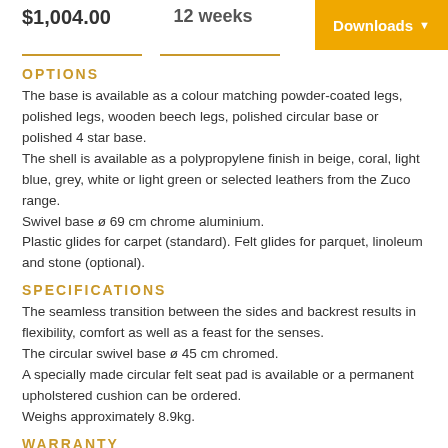$1,004.00
12 weeks
Downloads
OPTIONS
The base is available as a colour matching powder-coated legs, polished legs, wooden beech legs, polished circular base or polished 4 star base. The shell is available as a polypropylene finish in beige, coral, light blue, grey, white or light green or selected leathers from the Zuco range. Swivel base ø 69 cm chrome aluminium. Plastic glides for carpet (standard). Felt glides for parquet, linoleum and stone (optional).
SPECIFICATIONS
The seamless transition between the sides and backrest results in flexibility, comfort as well as a feast for the senses. The circular swivel base ø 45 cm chromed. A specially made circular felt seat pad is available or a permanent upholstered cushion can be ordered. Weighs approximately 8.9kg.
WARRANTY
5 years